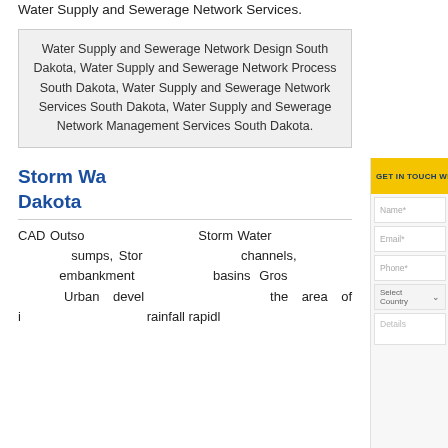Water Supply and Sewerage Network Services.
Water Supply and Sewerage Network Design South Dakota, Water Supply and Sewerage Network Process South Dakota, Water Supply and Sewerage Network Services South Dakota, Water Supply and Sewerage Network Management Services South Dakota.
Storm Water Management South Dakota
CAD Outsourcing Services for Storm Water Management includes sumps, Storm water drains, channels, embankments, retention basins Gross pollutant traps Urban development increases the area of impermeable surface, rainfall rapidly
[Figure (screenshot): GET IN TOUCH WITH US overlay panel with form fields: Name*, Email*, Phone*, Select Country dropdown, and Details textarea]
GET IN TOUCH WITH US